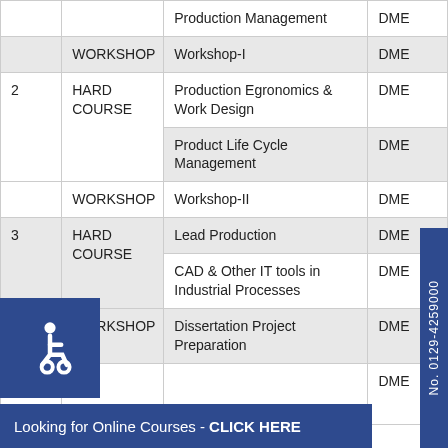|  |  | Course | Dept |
| --- | --- | --- | --- |
|  |  | Production Management | DME |
|  | WORKSHOP | Workshop-I | DME |
| 2 | HARD COURSE | Production Egronomics & Work Design | DME |
|  |  | Product Life Cycle Management | DME |
|  | WORKSHOP | Workshop-II | DME |
| 3 | HARD COURSE | Lead Production | DME |
|  |  | CAD & Other IT tools in Industrial Processes | DME |
|  | WORKSHOP | Dissertation Project Preparation | DME |
|  |  |  | DME |
Looking for Online Courses - CLICK HERE